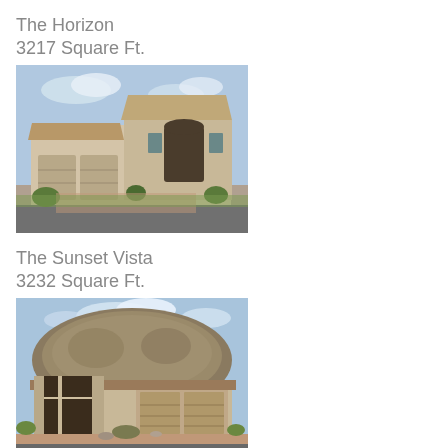The Horizon
3217 Square Ft.
[Figure (photo): Exterior photo of The Horizon home model - a two-story beige/tan stucco house with three-car garage, arched windows, and desert landscaping. Street view with blue sky.]
The Sunset Vista
3232 Square Ft.
[Figure (photo): Exterior photo of The Sunset Vista home model - a single-story tan/brown home with two-car garage, large rocky hill/boulder behind it, desert landscaping, blue sky with clouds.]
The C...